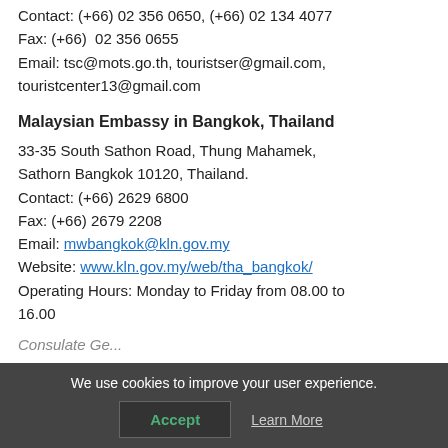Contact: (+66) 02 356 0650, (+66) 02 134 4077
Fax: (+66)  02 356 0655
Email: tsc@mots.go.th, touristser@gmail.com, touristcenter13@gmail.com
Malaysian Embassy in Bangkok, Thailand
33-35 South Sathon Road, Thung Mahamek, Sathorn Bangkok 10120, Thailand.
Contact: (+66) 2629 6800
Fax: (+66) 2679 2208
Email: mwbangkok@kln.gov.my
Website: www.kln.gov.my/web/tha_bangkok/
Operating Hours: Monday to Friday from 08.00 to 16.00
Consulate General...
We use cookies to improve your user experience.